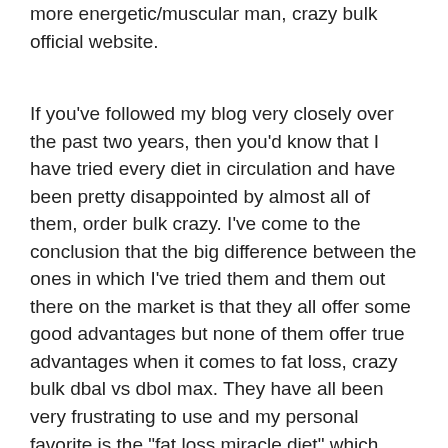more energetic/muscular man, crazy bulk official website.
If you've followed my blog very closely over the past two years, then you'd know that I have tried every diet in circulation and have been pretty disappointed by almost all of them, order bulk crazy. I've come to the conclusion that the big difference between the ones in which I've tried them and them out there on the market is that they all offer some good advantages but none of them offer true advantages when it comes to fat loss, crazy bulk dbal vs dbol max. They have all been very frustrating to use and my personal favorite is the "fat loss miracle diet" which works very, very well in terms of fat loss. But I believe that if you aren't using it, then you are probably doing yourself a huge disservice and should learn from my mistakes when it comes to getting results with the diet.